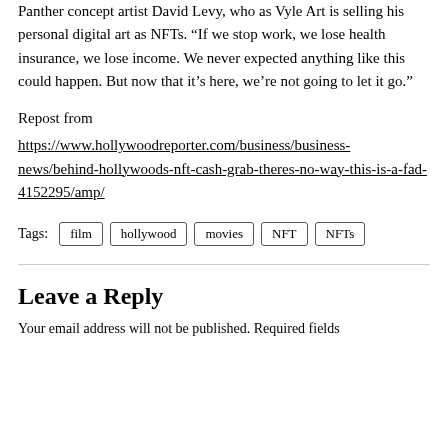Panther concept artist David Levy, who as Vyle Art is selling his personal digital art as NFTs. “If we stop work, we lose health insurance, we lose income. We never expected anything like this could happen. But now that it’s here, we’re not going to let it go.”
Repost from https://www.hollywoodreporter.com/business/business-news/behind-hollywoods-nft-cash-grab-theres-no-way-this-is-a-fad-4152295/amp/
Tags: film  hollywood  movies  NFT  NFTs
Leave a Reply
Your email address will not be published. Required fields